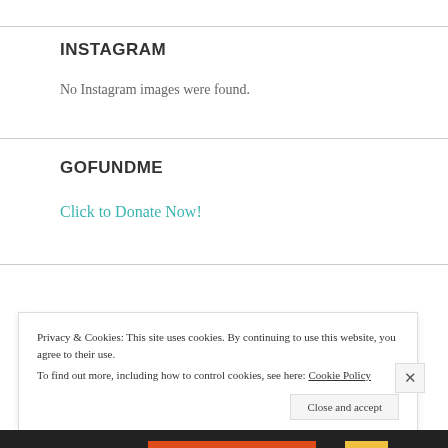INSTAGRAM
No Instagram images were found.
GOFUNDME
Click to Donate Now!
Privacy & Cookies: This site uses cookies. By continuing to use this website, you agree to their use.
To find out more, including how to control cookies, see here: Cookie Policy
Close and accept